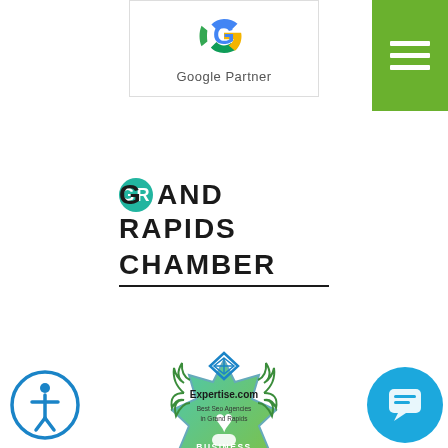[Figure (logo): Green hamburger menu button in top right corner]
[Figure (logo): Google Partner badge with Google G logo and text 'Google Partner']
[Figure (logo): Grand Rapids Chamber logo with teal GR circle and bold text 'GRAND RAPIDS CHAMBER' with underline]
[Figure (logo): Business Member badge - green gradient star/badge shape with heart and hand icon and text 'BUSINESS MEMBER']
[Figure (logo): Accessibility icon - circular blue outlined icon with person symbol]
[Figure (logo): Expertise.com badge with diamond logo and text 'Best Seo Agencies in Grand Rapids']
[Figure (logo): Blue circular chat button with speech bubble icon]